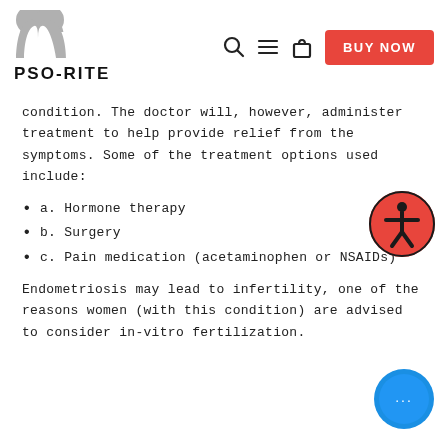PSO-RITE [logo with navigation icons and BUY NOW button]
condition. The doctor will, however, administer treatment to help provide relief from the symptoms. Some of the treatment options used include:
a. Hormone therapy
b. Surgery
c. Pain medication (acetaminophen or NSAIDs)
Endometriosis may lead to infertility, one of the reasons women (with this condition) are advised to consider in-vitro fertilization.